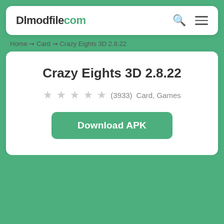Dlmodfile com
Home → Card → Crazy Eights 3D 2.8.22
Crazy Eights 3D 2.8.22
★★★★☆ (3933) Card, Games
Download APK